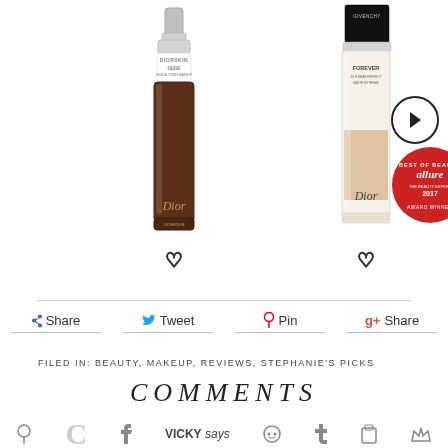[Figure (photo): Two Dior foundation bottles – left is Diorskin Nude (dark brown shade) and right is Dior Forever foundation (medium tan shade) with Allure Best of Beauty 2017 award badge. Arrow navigation button on right.]
Share  Tweet  Pin  g+Share
FILED IN: BEAUTY, MAKEUP, REVIEWS, STEPHANIE'S PICKS
COMMENTS
VICKY says